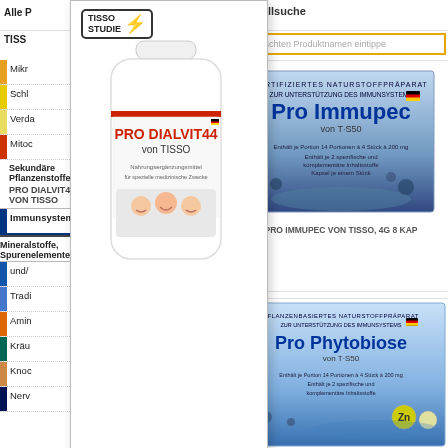Alle P
Schnellsuche
gewünschten Produktnamen eintippen
TISS
[Figure (photo): PRO DIALVIT44 von TISSO product bottle with TISSO STUDIE badge]
Sekundäre Pflanzenstoffe
PRO DIALVIT44 VON TISSO
[Figure (photo): PRO IMMUPEC von TISSO product box]
PRO IMMUPEC VON TISSO, 4G 8 KAP
Mikr
Schl
Verda
Mitoc
Immunsystem
Mineralstoffe, Spurenelemente
und/
Tradi
Amin
Kräu
Knoc
Nerv
[Figure (photo): PRO IMMUPEC von TISSO product box (second instance)]
[Figure (photo): PRO PHYTOBIOSE von TISSO product box]